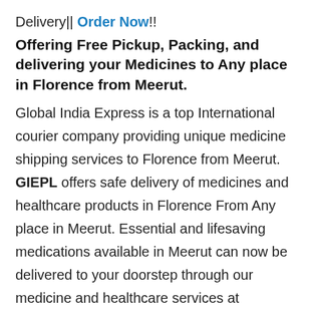Delivery|| Order Now!!
Offering Free Pickup, Packing, and delivering your Medicines to Any place in Florence from Meerut.
Global India Express is a top International courier company providing unique medicine shipping services to Florence from Meerut. GIEPL offers safe delivery of medicines and healthcare products in Florence From Any place in Meerut. Essential and lifesaving medications available in Meerut can now be delivered to your doorstep through our medicine and healthcare services at affordable prices. You can get in touch with our team to book your next shipment conveniently.
We also ensure safety values for shipping medicines delivery to Florence From Meerut. Hurry